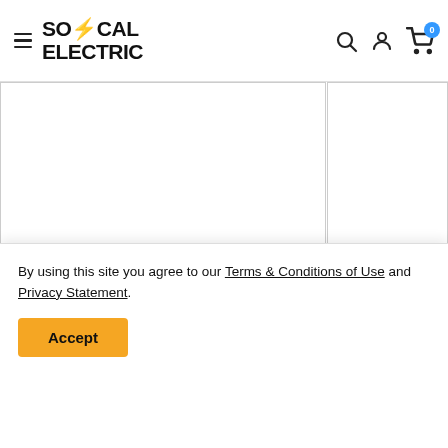[Figure (logo): SoCal Electric logo with blue lightning bolt slash]
[Figure (screenshot): Website navigation bar with hamburger menu, SoCal Electric logo, search icon, account icon, and cart icon with badge 0]
[Figure (photo): Product image area — white/blank product photo placeholder left panel and right panel]
By using this site you agree to our Terms & Conditions of Use and Privacy Statement.
Accept
Module Receptacle
$ 35.00